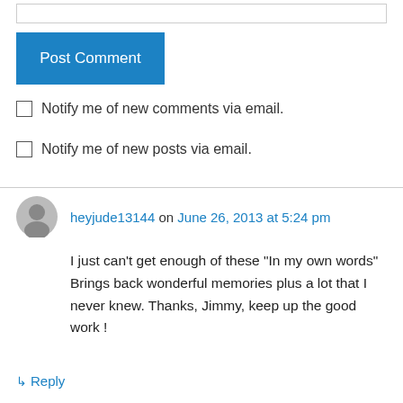[Figure (other): Text input bar (form field)]
Post Comment
Notify me of new comments via email.
Notify me of new posts via email.
heyjude13144 on June 26, 2013 at 5:24 pm
I just can't get enough of these "In my own words" Brings back wonderful memories plus a lot that I never knew. Thanks, Jimmy, keep up the good work !
↳ Reply